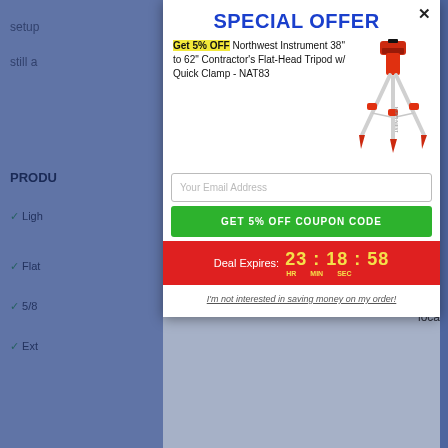SPECIAL OFFER
Get 5% OFF Northwest Instrument 38" to 62" Contractor's Flat-Head Tripod w/ Quick Clamp - NAT83
[Figure (photo): Red and silver surveying tripod (Northwest Instrument NAT83)]
Your Email Address
GET 5% OFF COUPON CODE
Deal Expires: 23 : 18 : 58  HR  MIN  SEC
I'm not interested in saving money on my order!